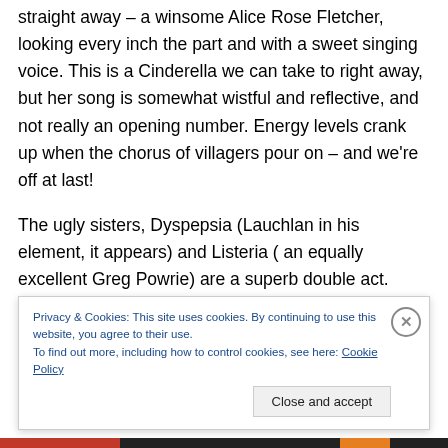straight away – a winsome Alice Rose Fletcher, looking every inch the part and with a sweet singing voice. This is a Cinderella we can take to right away, but her song is somewhat wistful and reflective, and not really an opening number. Energy levels crank up when the chorus of villagers pour on – and we're off at last!
The ugly sisters, Dyspepsia (Lauchlan in his element, it appears) and Listeria ( an equally excellent Greg Powrie) are a superb double act. Ostensibly the villains, they are too enjoyable to be bad. The crux of villainy in this version
Privacy & Cookies: This site uses cookies. By continuing to use this website, you agree to their use.
To find out more, including how to control cookies, see here: Cookie Policy
Close and accept